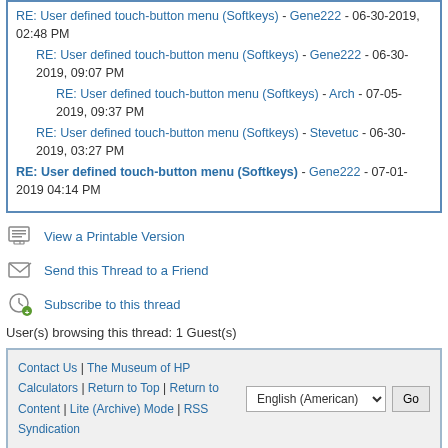RE: User defined touch-button menu (Softkeys) - Gene222 - 06-30-2019, 02:48 PM
RE: User defined touch-button menu (Softkeys) - Gene222 - 06-30-2019, 09:07 PM
RE: User defined touch-button menu (Softkeys) - Arch - 07-05-2019, 09:37 PM
RE: User defined touch-button menu (Softkeys) - Stevetuc - 06-30-2019, 03:27 PM
RE: User defined touch-button menu (Softkeys) - Gene222 - 07-01-2019 04:14 PM
View a Printable Version
Send this Thread to a Friend
Subscribe to this thread
User(s) browsing this thread: 1 Guest(s)
Contact Us | The Museum of HP Calculators | Return to Top | Return to Content | Lite (Archive) Mode | RSS Syndication | English (American) | Go
Forum software: MyBB, © 2002-2022 MyBB Group.